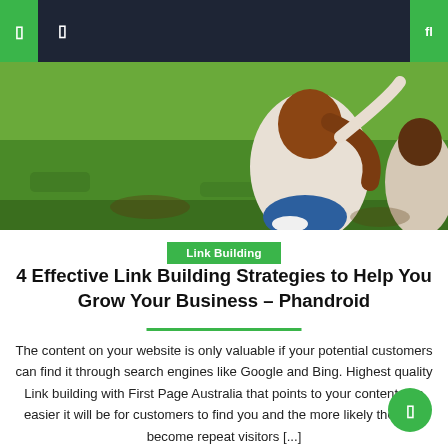Navigation bar with icons and search
[Figure (photo): Two people sitting on grass, seen from behind, one with long brown hair raising a hand]
Link Building
4 Effective Link Building Strategies to Help You Grow Your Business – Phandroid
The content on your website is only valuable if your potential customers can find it through search engines like Google and Bing. Highest quality Link building with First Page Australia that points to your content, the easier it will be for customers to find you and the more likely they are become repeat visitors [...]